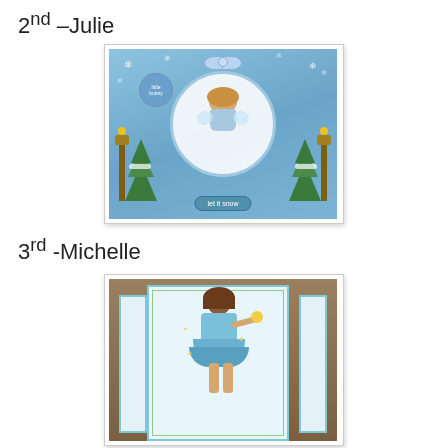2nd –Julie
[Figure (photo): Handmade greeting card by Julie featuring a winter scene with a fairy/girl on a crescent moon, snow-covered Christmas trees, lamp posts, white bow decoration at top, blue snowflake background, and 'let it snow' badge at bottom. Card has white border with shadow.]
3rd -Michelle
[Figure (photo): Handmade greeting card set by Michelle showing a fairy girl in a blue dress holding a star wand, with cards arranged in a stepped/cascading layout on a brown background. Cards have blue and white coloring with green accents.]